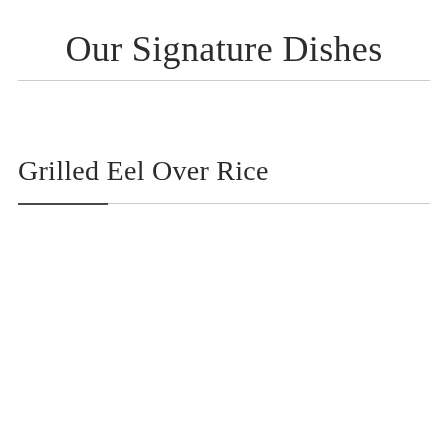Our Signature Dishes
Grilled Eel Over Rice